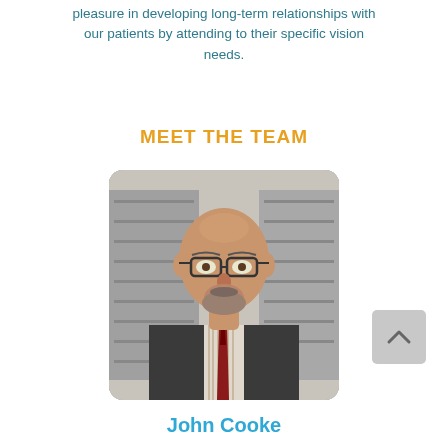pleasure in developing long-term relationships with our patients by attending to their specific vision needs.
MEET THE TEAM
[Figure (photo): Portrait photo of John Cooke, a bald middle-aged man with glasses, a beard, wearing a plaid suit jacket and red tie, standing in front of a wall display of eyeglass frames in an optometry office.]
John Cooke